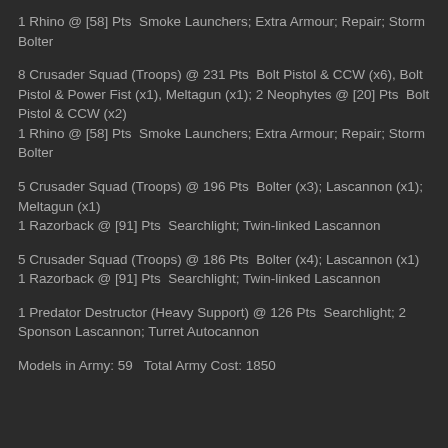1 Rhino @ [58] Pts  Smoke Launchers; Extra Armour; Repair; Storm Bolter
8 Crusader Squad (Troops) @ 231 Pts  Bolt Pistol & CCW (x6), Bolt Pistol & Power Fist (x1), Meltagun (x1); 2 Neophytes @ [20] Pts  Bolt Pistol & CCW (x2)
1 Rhino @ [58] Pts  Smoke Launchers; Extra Armour; Repair; Storm Bolter
5 Crusader Squad (Troops) @ 196 Pts  Bolter (x3); Lascannon (x1); Meltagun (x1)
1 Razorback @ [91] Pts  Searchlight; Twin-linked Lascannon
5 Crusader Squad (Troops) @ 186 Pts  Bolter (x4); Lascannon (x1)
1 Razorback @ [91] Pts  Searchlight; Twin-linked Lascannon
1 Predator Destructor (Heavy Support) @ 126 Pts  Searchlight; 2 Sponson Lascannon; Turret Autocannon
Models in Army: 59   Total Army Cost: 1850